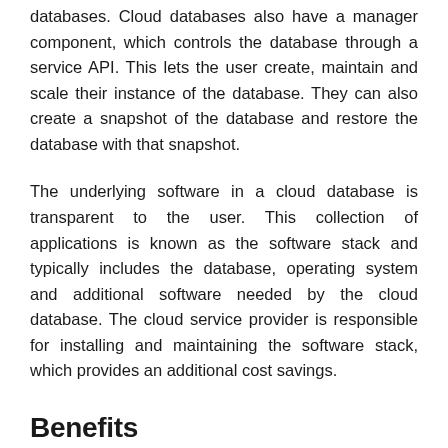databases. Cloud databases also have a manager component, which controls the database through a service API. This lets the user create, maintain and scale their instance of the database. They can also create a snapshot of the database and restore the database with that snapshot.
The underlying software in a cloud database is transparent to the user. This collection of applications is known as the software stack and typically includes the database, operating system and additional software needed by the cloud database. The cloud service provider is responsible for installing and maintaining the software stack, which provides an additional cost savings.
Benefits